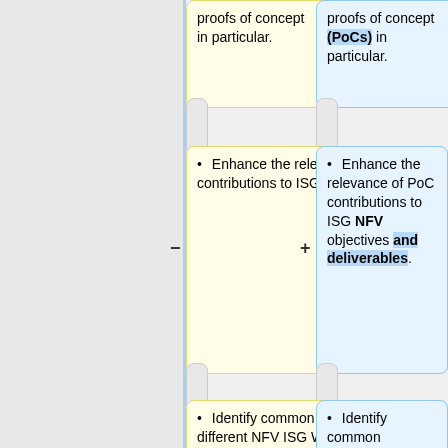proofs of concept in particular.
proofs of concept (PoCs) in particular.
• Enhance the relevance of PoC contributions to ISG objectives.
• Enhance the relevance of PoC contributions to ISG NFV objectives and deliverables.
• Identify common concerns of different NFV ISG Working groups and focus on insights that might be useful
• Identify common concerns of different NFV ISG Working groups and focus on insights that might be useful